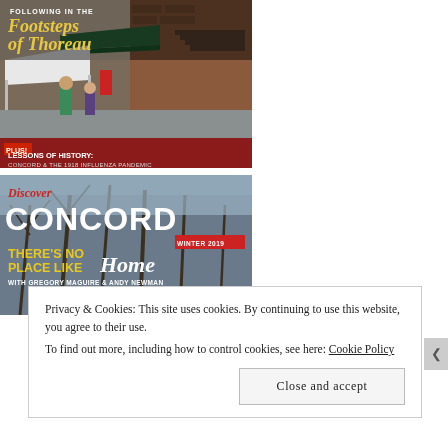[Figure (photo): Magazine cover: 'Following in the Footsteps of Thoreau' with street scene photo showing people outside brick building with awnings. Red banner at bottom: 'PLUS! LESSONS OF HISTORY: CONCORD & THE 1918 INFLUENZA PANDEMIC']
[Figure (photo): Magazine cover: 'Discover CONCORD' Winter 2019 issue. Large trees in winter with curved path. Text: 'THERE'S NO PLACE LIKE Home WITH GREGORY MAGUIRE & ANDY NEWMAN']
Privacy & Cookies: This site uses cookies. By continuing to use this website, you agree to their use.
To find out more, including how to control cookies, see here: Cookie Policy
Close and accept